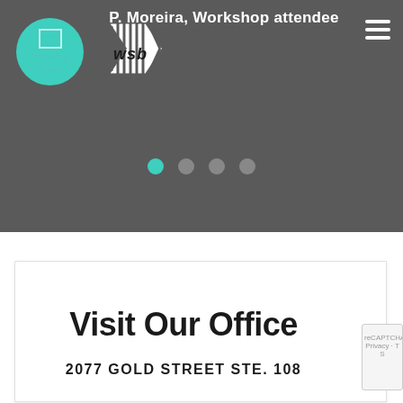[Figure (screenshot): Website screenshot showing a testimonial banner with profile avatar (Yanping Zhang), WSB logo with chevron arrows, text 'P. Moreira, Workshop attendee', pagination dots, and a white card section with 'Visit Our Office' heading and address '2077 GOLD STREET STE. 108']
P. Moreira, Workshop attendee
Yanping Zhang
Visit Our Office
2077 GOLD STREET STE. 108